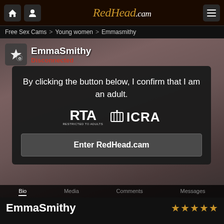RedHead.cam
Free Sex Cams > Young women > Emmasmithy
[Figure (screenshot): Profile photo of EmmaSmithy with dark hair in ponytail, wearing red top, blurred background]
EmmaSmithy
Disconnected
By clicking the button below, I confirm that I am an adult.
[Figure (logo): RTA and ICRA logos for age verification]
Enter RedHead.cam
EmmaSmithy